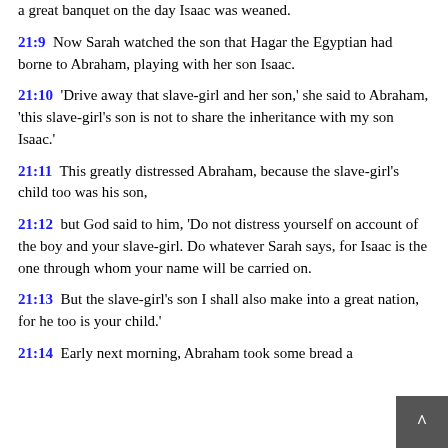a great banquet on the day Isaac was weaned.
21:9  Now Sarah watched the son that Hagar the Egyptian had borne to Abraham, playing with her son Isaac.
21:10  'Drive away that slave-girl and her son,' she said to Abraham, 'this slave-girl's son is not to share the inheritance with my son Isaac.'
21:11  This greatly distressed Abraham, because the slave-girl's child too was his son,
21:12  but God said to him, 'Do not distress yourself on account of the boy and your slave-girl. Do whatever Sarah says, for Isaac is the one through whom your name will be carried on.
21:13  But the slave-girl's son I shall also make into a great nation, for he too is your child.'
21:14  Early next morning, Abraham took some bread a...